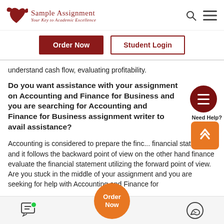[Figure (logo): Sample Assignment logo with bird icon and tagline 'Your Key to Academic Excellence']
Order Now | Student Login
understand cash flow, evaluating profitability.
Do you want assistance with your assignment on Accounting and Finance for Business and you are searching for Accounting and Finance for Business assignment writer to avail assistance?
Accounting is considered to prepare the financial statement and it follows the backward point of view on the other hand finance evaluate the financial statement utilizing the forward point of view. Are you stuck in the middle of your assignment and you are seeking for help with Accounting and Finance for